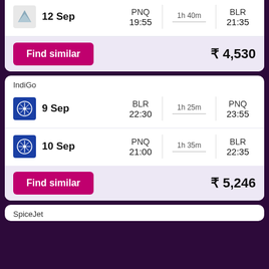| Date | From | Duration | To |
| --- | --- | --- | --- |
| 12 Sep | PNQ 19:55 | 1h 40m | BLR 21:35 |
Find similar   ₹ 4,530
IndiGo
| Date | From | Duration | To |
| --- | --- | --- | --- |
| 9 Sep | BLR 22:30 | 1h 25m | PNQ 23:55 |
| 10 Sep | PNQ 21:00 | 1h 35m | BLR 22:35 |
Find similar   ₹ 5,246
SpiceJet